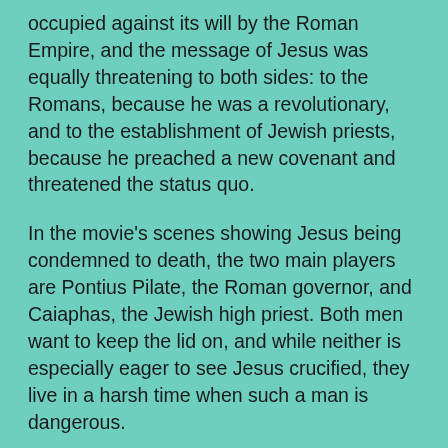occupied against its will by the Roman Empire, and the message of Jesus was equally threatening to both sides: to the Romans, because he was a revolutionary, and to the establishment of Jewish priests, because he preached a new covenant and threatened the status quo.
In the movie's scenes showing Jesus being condemned to death, the two main players are Pontius Pilate, the Roman governor, and Caiaphas, the Jewish high priest. Both men want to keep the lid on, and while neither is especially eager to see Jesus crucified, they live in a harsh time when such a man is dangerous.
Pilate is seen going through his well-known doubts before finally washing his hands of the matter and turning Jesus over to the priests, but Caiaphas, who also had doubts, is not seen as sympathetically. The critic Steven D. Greydanus, in a useful analysis of the film, writes: "The film omits the canonical line from John's gospel in which Caiaphas argues that it is better for one man to die for the people [so] that the nation be saved.